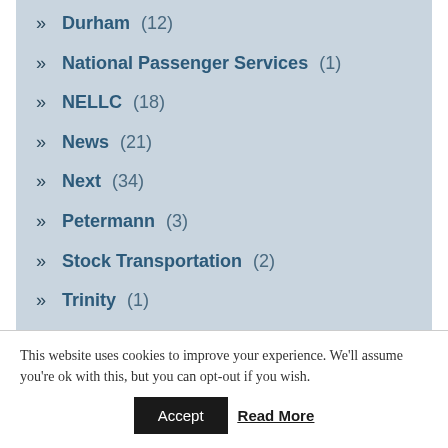Durham (12)
National Passenger Services (1)
NELLC (18)
News (21)
Next (34)
Petermann (3)
Stock Transportation (2)
Trinity (1)
This website uses cookies to improve your experience. We'll assume you're ok with this, but you can opt-out if you wish.
Accept | Read More